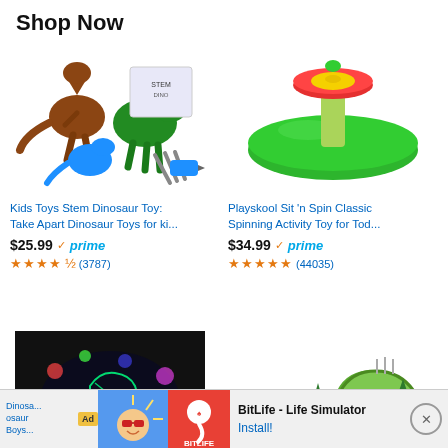Shop Now
[Figure (photo): Kids dinosaur toy set with T-Rex, triceratops, other dinosaurs, screwdriver tools and drill]
Kids Toys Stem Dinosaur Toy: Take Apart Dinosaur Toys for ki...
$25.99 ✓prime
★★★★½ (3787)
[Figure (photo): Playskool Sit n Spin - green circular spinning disc toy with red and yellow top]
Playskool Sit 'n Spin Classic Spinning Activity Toy for Tod...
$34.99 ✓prime
★★★★★ (44035)
[Figure (photo): Dinosaur night light projector showing colorful dinosaur constellation projections on ceiling, black dome shaped device]
[Figure (photo): Dinosaur race track toy set with winding track, dinosaur figures, trees and gates]
Ad  BitLife - Life Simulator  Install!
Dinosa... osaur Boys...